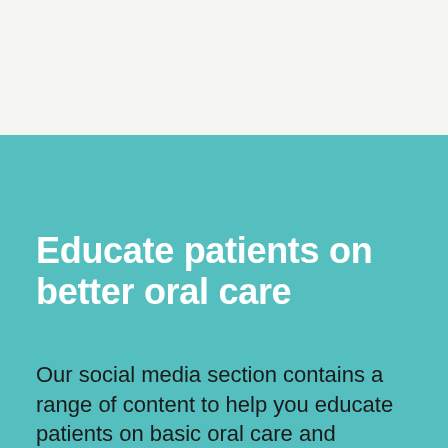[Figure (photo): Top light gray background area — appears to be the bottom portion of an image or photo above the teal section]
Educate patients on better oral care
Our social media section contains a range of content to help you educate patients on basic oral care and ensure that